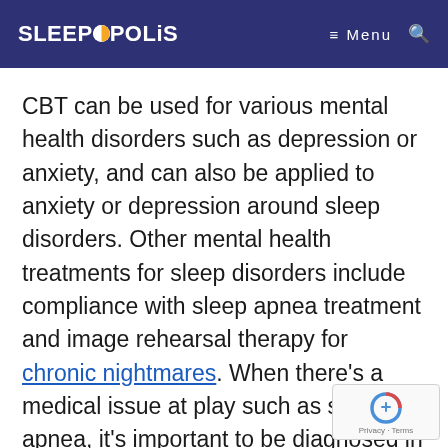SLEEPOPOLIS  ≡ Menu 🔍
CBT can be used for various mental health disorders such as depression or anxiety, and can also be applied to anxiety or depression around sleep disorders. Other mental health treatments for sleep disorders include compliance with sleep apnea treatment and image rehearsal therapy for chronic nightmares. When there's a medical issue at play such as sleep apnea, it's important to be diagnosed in a medical sleep lab and receive the proper treatment for safe sleep.